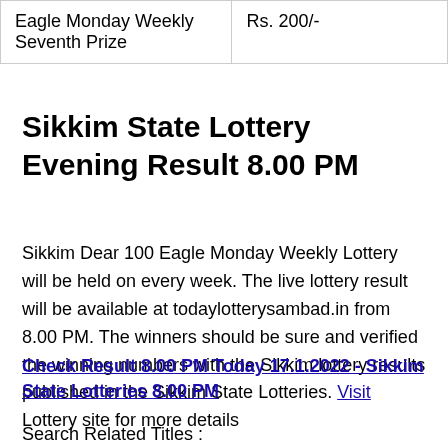| Eagle Monday Weekly Seventh Prize | Rs. 200/- |
Sikkim State Lottery Evening Result 8.00 PM
Sikkim Dear 100 Eagle Monday Weekly Lottery will be held on every week. The live lottery result will be available at todaylotterysambad.in from 8.00 PM. The winners should be sure and verified the winning numbers with the Sikkim lottery results published in the Sikkim State Lotteries. Visit Lottery site for more details
Check Result 8.00 PM Today 17.1.2022 - Sikkim State Lotteries 8.00 PM
Search Related Titles :